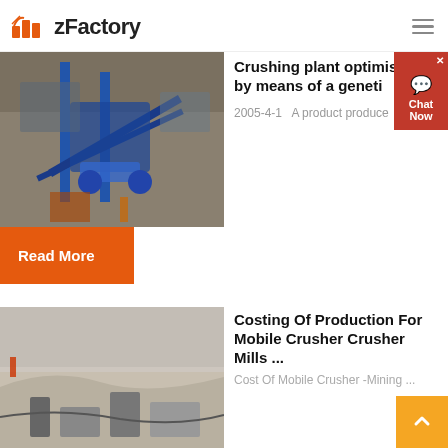zFactory
[Figure (photo): Industrial crushing plant machinery with blue metal structure and conveyor belts at a mining site]
Crushing plant optimisation by means of a geneti
2005-4-1   A product produce
Read More
[Figure (photo): Open-pit mining site with machinery and dust on a hillside]
Costing Of Production For Mobile Crusher Crusher Mills ...
Cost Of Mobile Crusher -Mining ...